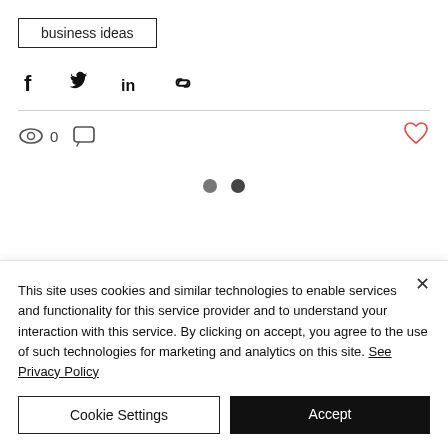business ideas
[Figure (other): Social share icons: Facebook, Twitter, LinkedIn, Link/chain]
[Figure (other): Stats row: eye icon with count 0, comment bubble icon, heart icon (red/outline)]
[Figure (other): Carousel dots: two dots indicating pagination]
This site uses cookies and similar technologies to enable services and functionality for this service provider and to understand your interaction with this service. By clicking on accept, you agree to the use of such technologies for marketing and analytics on this site. See Privacy Policy
Cookie Settings
Accept